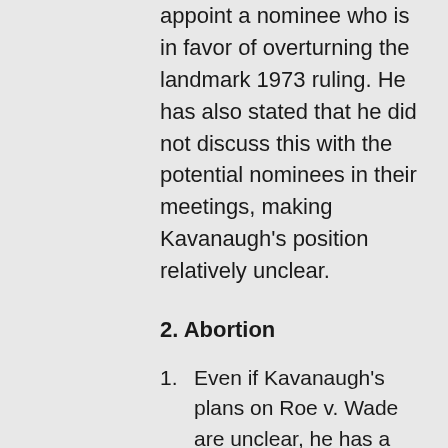appoint a nominee who is in favor of overturning the landmark 1973 ruling. He has also stated that he did not discuss this with the potential nominees in their meetings, making Kavanaugh's position relatively unclear.
2. Abortion
Even if Kavanaugh's plans on Roe v. Wade are unclear, he has a history of ruling conservatively with regard to abortion cases.
Last October, Kavanaugh dissented from a ruling of the DC Circuit that allowed an